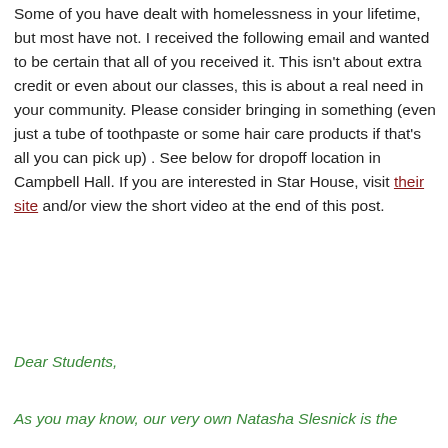Some of you have dealt with homelessness in your lifetime, but most have not. I received the following email and wanted to be certain that all of you received it. This isn't about extra credit or even about our classes, this is about a real need in your community. Please consider bringing in something (even just a tube of toothpaste or some hair care products if that's all you can pick up) . See below for dropoff location in Campbell Hall. If you are interested in Star House, visit their site and/or view the short video at the end of this post.
Dear Students,
As you may know, our very own Natasha Slesnick is the